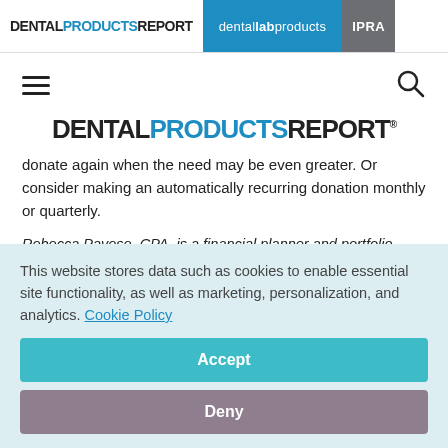DENTAL PRODUCTS REPORT | dental lab products | IPRA
[Figure (logo): Hamburger menu icon and search icon navigation row]
[Figure (logo): DENTAL PRODUCTS REPORT main logo]
donate again when the need may be even greater. Or consider making an automatically recurring donation monthly or quarterly.
Rebecca Pavese, CPA, is a financial planner and portfolio
This website stores data such as cookies to enable essential site functionality, as well as marketing, personalization, and analytics. Cookie Policy
Accept
Deny